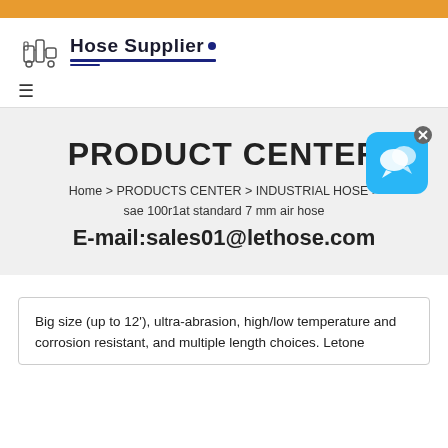[Figure (logo): Hose Supplier logo with industrial machinery icon and bold text 'Hose Supplier' with dark blue underline]
≡
PRODUCT CENTER
Home > PRODUCTS CENTER > INDUSTRIAL HOSE > sae 100r1at standard 7 mm air hose
E-mail:sales01@lethose.com
[Figure (illustration): Blue chat/message bubble icon with X close button in top right corner]
Big size (up to 12'), ultra-abrasion, high/low temperature and corrosion resistant, and multiple length choices. Letone